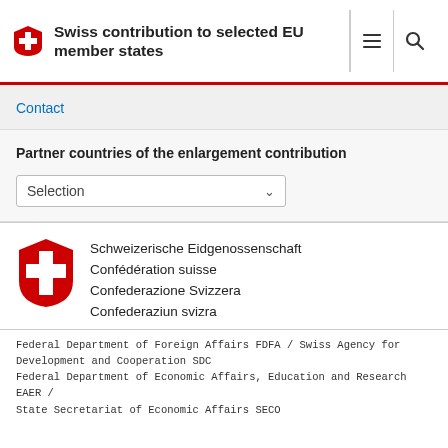Swiss contribution to selected EU member states
Contact
Partner countries of the enlargement contribution
Selection
[Figure (logo): Swiss Confederation logo with shield and text: Schweizerische Eidgenossenschaft, Confédération suisse, Confederazione Svizzera, Confederaziun svizra]
Federal Department of Foreign Affairs FDFA / Swiss Agency for Development and Cooperation SDC
Federal Department of Economic Affairs, Education and Research EAER / State Secretariat of Economic Affairs SECO